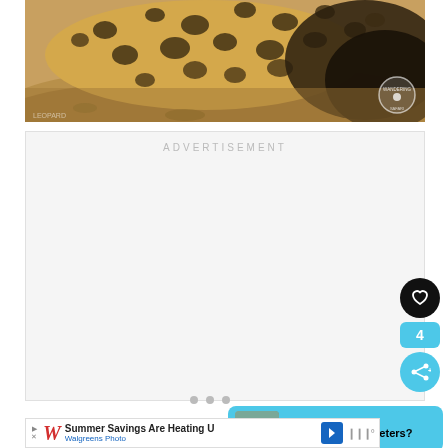[Figure (photo): A leopard with spotted coat resting on sandy/rocky ground, cropped to show body from back/side. Watermark circle in bottom right corner.]
ADVERTISEMENT
[Figure (infographic): Like button (heart icon on black circle), count '4', and share button (share icon on blue circle) on the right side]
[Figure (infographic): What's Next card showing thumbnail and text: WHAT'S NEXT → How Far Is 1500 Meters?]
[Figure (infographic): Advertisement banner: Summer Savings Are Heating U / Walgreens Photo with Walgreens logo and navigation arrow icon]